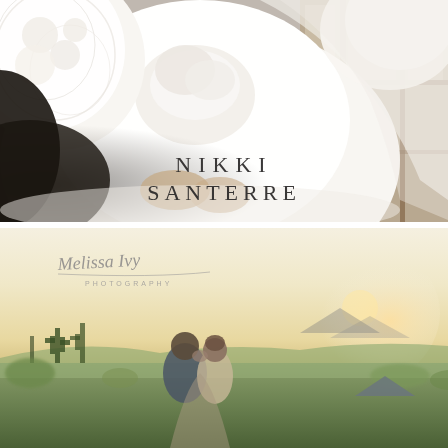[Figure (photo): Close-up photograph of a bride in an elaborate white lace ball gown with large puffy sleeves, photographed indoors near a window. Text overlay reads NIKKI SANTERRE in spaced serif capitals.]
[Figure (photo): A couple sharing a romantic moment/kiss outdoors at golden hour sunset with desert cacti landscape in background. Melissa Ivy Photography logo/watermark in top-left corner. A grey triangle shape visible in the right portion of the image.]